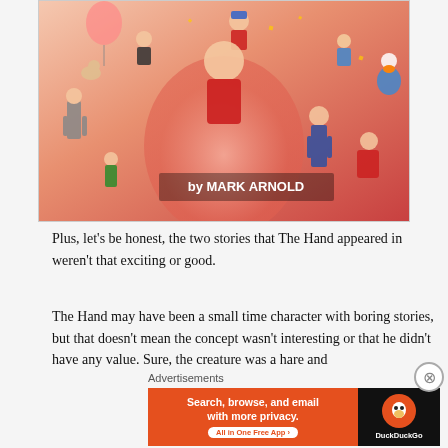[Figure (illustration): Book cover illustration showing multiple cartoon characters surrounding a large central figure, with text 'by MARK ARNOLD' at the bottom]
Plus, let's be honest, the two stories that The Hand appeared in weren't that exciting or good.
The Hand may have been a small time character with boring stories, but that doesn't mean the concept wasn't interesting or that he didn't have any value. Sure, the creature was a hare and
Advertisements
[Figure (infographic): DuckDuckGo advertisement banner: 'Search, browse, and email with more privacy. All in One Free App' with DuckDuckGo logo on orange and black background]